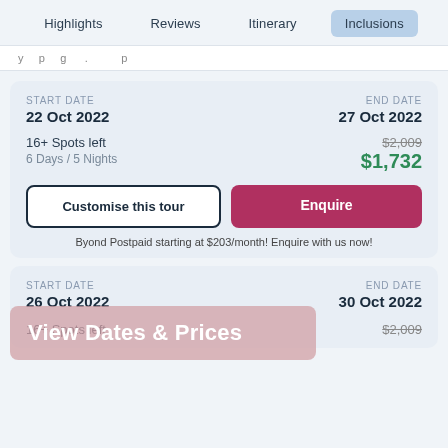Highlights  Reviews  Itinerary  Inclusions
y...p...g...p
| START DATE | END DATE |
| --- | --- |
| 22 Oct 2022 | 27 Oct 2022 |
16+ Spots left
6 Days / 5 Nights
$2,009 $1,732
Customise this tour
Enquire
Byond Postpaid starting at $203/month! Enquire with us now!
| START DATE | END DATE |
| --- | --- |
| 26 Oct 2022 | 30 Oct 2022 |
[Figure (screenshot): View Dates & Prices overlay banner]
16+ Spots left
$2,009